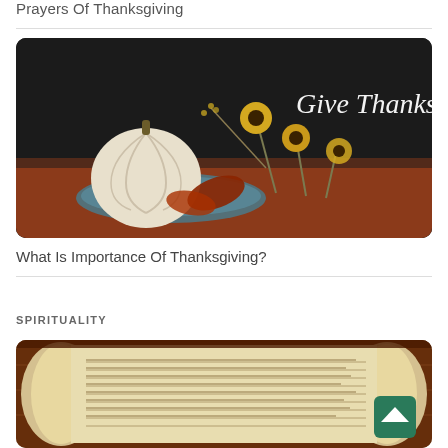Prayers Of Thanksgiving
[Figure (photo): Thanksgiving themed photo with white pumpkin, dried sunflowers, and autumn leaves on a table with a chalkboard in the background reading 'Give Thanks' in cursive script.]
What Is Importance Of Thanksgiving?
SPIRITUALITY
[Figure (photo): An open ancient scroll/manuscript with decorative embroidered textile in the background. A green back-to-top button is visible in the lower right corner.]